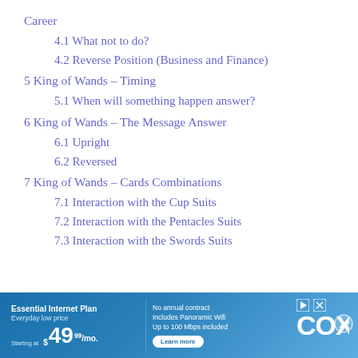Career
4.1 What not to do?
4.2 Reverse Position (Business and Finance)
5 King of Wands – Timing
5.1 When will something happen answer?
6 King of Wands – The Message Answer
6.1 Upright
6.2 Reversed
7 King of Wands – Cards Combinations
7.1 Interaction with the Cup Suits
7.2 Interaction with the Pentacles Suits
7.3 Interaction with the Swords Suits
[Figure (other): Cox Essential Internet Plan advertisement banner: Essential Internet Plan, Everyday low price, Starting at $49.99/mo. No annual contract, Includes Panoramic Wifi, Up to 100 Mbps included. Learn more button. Cox logo.]